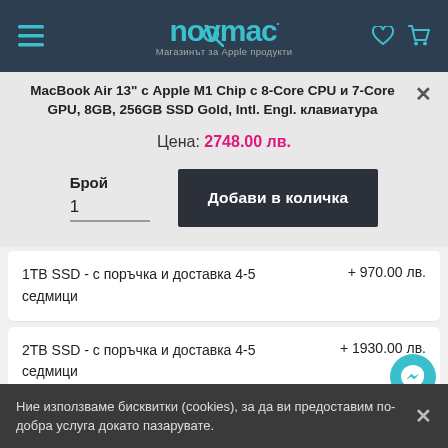novmac — Магазинът за Apple продукти
MacBook Air 13" с Apple M1 Chip с 8-Core CPU и 7-Core GPU, 8GB, 256GB SSD Gold, Intl. Engl. клавиатура
Цена: 2748.00 лв.
Брой
1
Добави в количка
1TB SSD - с поръчка и доставка 4-5 седмици	+ 970.00 лв.
2TB SSD - с поръчка и доставка 4-5 седмици	+ 1930.00 лв.
Ние използваме бисквитки (cookies), за да ви предоставим по-добра услуга докато пазарувате.